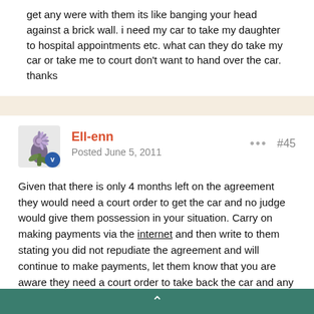get any were with them its like banging your head against a brick wall. i need my car to take my daughter to hospital appointments etc. what can they do take my car or take me to court don't want to hand over the car. thanks
Ell-enn
Posted June 5, 2011
#45
Given that there is only 4 months left on the agreement they would need a court order to get the car and no judge would give them possession in your situation. Carry on making payments via the internet and then write to them stating you did not repudiate the agreement and will continue to make payments, let them know that you are aware they need a court order to take back the car and any court action by them will be vigorously defended as you need the car to transport your disabled child. Send the letter by recorded delivery and keep a copy for yourself in case you need it for court. If you need help with the letter please let me know and I'll happily draft one for you.